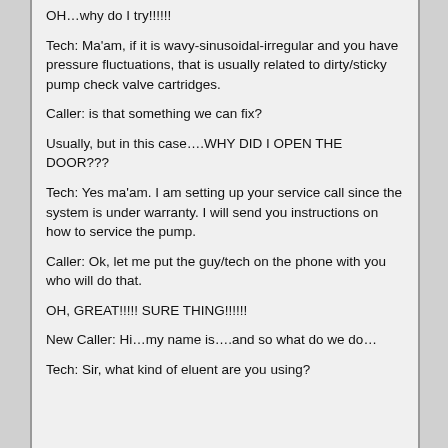OH…why do I try!!!!!!
Tech:  Ma'am, if it is wavy-sinusoidal-irregular and you have pressure fluctuations, that is usually related to dirty/sticky pump check valve cartridges.
Caller:  is that something we can fix?
Usually, but in this case….WHY DID I OPEN THE DOOR???
Tech:  Yes ma'am.  I am setting up your service call since the system is under warranty.  I will send you instructions on how to service the pump.
Caller:  Ok, let me put the guy/tech on the phone with you who will do that.
OH, GREAT!!!!! SURE THING!!!!!!
New Caller:  Hi…my name is….and so what do we do…
Tech:  Sir, what kind of eluent are you using?